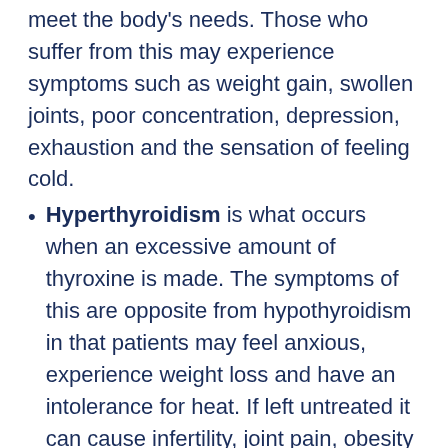meet the body's needs. Those who suffer from this may experience symptoms such as weight gain, swollen joints, poor concentration, depression, exhaustion and the sensation of feeling cold.
Hyperthyroidism is what occurs when an excessive amount of thyroxine is made. The symptoms of this are opposite from hypothyroidism in that patients may feel anxious, experience weight loss and have an intolerance for heat. If left untreated it can cause infertility, joint pain, obesity and heart disease.
Thyroid Eye Disease commonly impacts those who have Graves' disease, an auto-immune disorder that causes an overactive thyroid. It is the result of the tissue and muscles behind the eye becoming inflamed. The symptoms for this